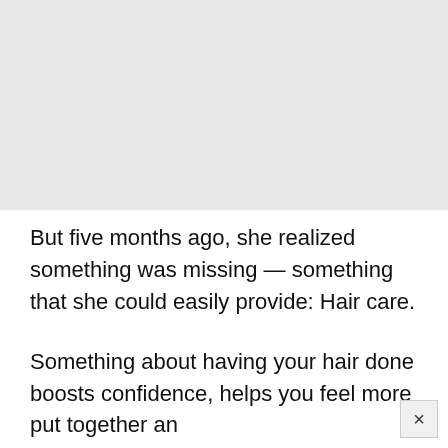[Figure (photo): Gray/light colored image placeholder occupying the top half of the page]
But five months ago, she realized something was missing — something that she could easily provide: Hair care.
Something about having your hair done boosts confidence, helps you feel more put together an